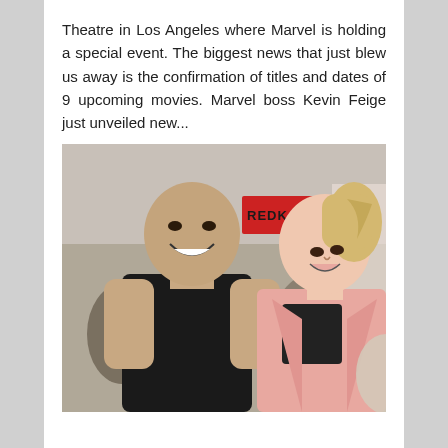Theatre in Los Angeles where Marvel is holding a special event. The biggest news that just blew us away is the confirmation of titles and dates of 9 upcoming movies. Marvel boss Kevin Feige just unveiled new...
[Figure (photo): Two people standing together smiling outdoors in a crowded setting. A muscular bald man in a black tank top on the left, and a blonde woman in a pink jacket on the right. A red sign reading REDKAPA is visible in the background.]